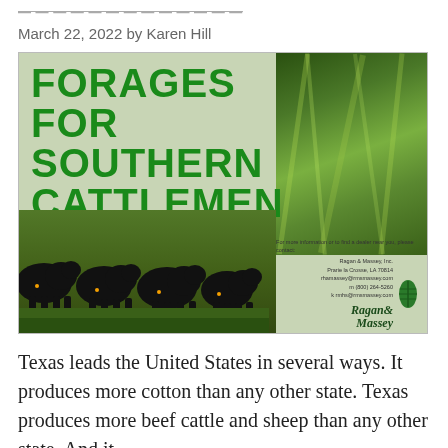The Texas Almanac
March 22, 2022 by Karen Hill
[Figure (illustration): Advertisement for Prine Tetraploid Annual Ryegrass titled 'FORAGES FOR SOUTHERN CATTLEMEN' showing black cattle grazing on green grass with Ragan & Massey logo. Published by Ragan & Massey Inc.]
Texas leads the United States in several ways. It produces more cotton than any other state. Texas produces more beef cattle and sheep than any other state. And it